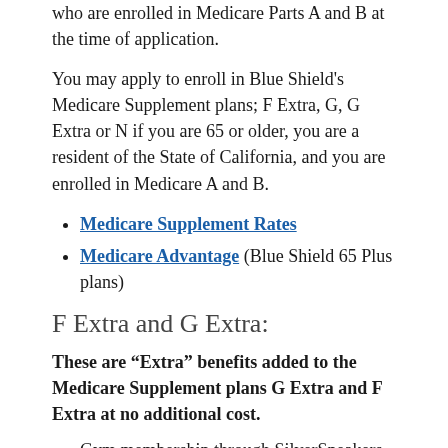who are enrolled in Medicare Parts A and B at the time of application.
You may apply to enroll in Blue Shield's Medicare Supplement plans; F Extra, G, G Extra or N if you are 65 or older, you are a resident of the State of California, and you are enrolled in Medicare A and B.
Medicare Supplement Rates
Medicare Advantage (Blue Shield 65 Plus plans)
F Extra and G Extra:
These are “Extra” benefits added to the Medicare Supplement plans G Extra and F Extra at no additional cost.
Gym membership through SilverSneakers.
Hearing Aid Services through EPIC Hearing Healthcare